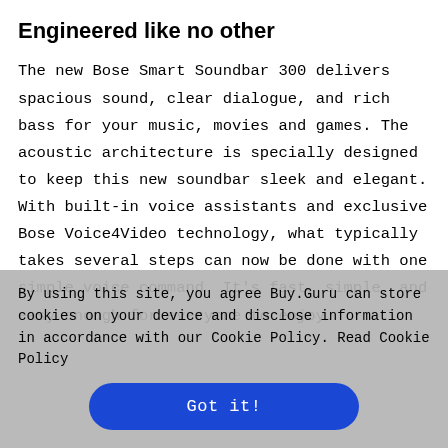Engineered like no other
The new Bose Smart Soundbar 300 delivers spacious sound, clear dialogue, and rich bass for your music, movies and games. The acoustic architecture is specially designed to keep this new soundbar sleek and elegant. With built-in voice assistants and exclusive Bose Voice4Video technology, what typically takes several steps can now be done with one simple voice command. It's fast, simple, and easy enough for everyone to enjoy.
By using this site, you agree Buy.Guru can store cookies on your device and disclose information in accordance with our Cookie Policy. Read Cookie Policy
Got it!